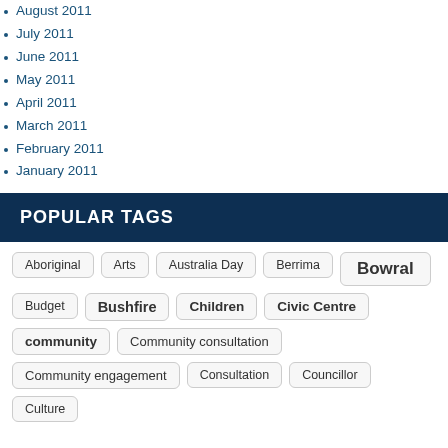August 2011
July 2011
June 2011
May 2011
April 2011
March 2011
February 2011
January 2011
POPULAR TAGS
Aboriginal
Arts
Australia Day
Berrima
Bowral
Budget
Bushfire
Children
Civic Centre
community
Community consultation
Community engagement
Consultation
Councillor
Culture